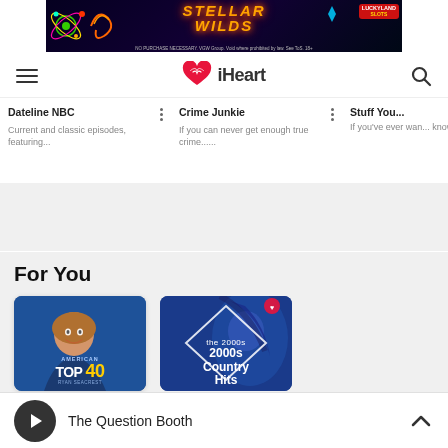[Figure (screenshot): Stellar Wilds advertisement banner for LuckyLand Slots with text: NO PURCHASE NECESSARY. VGW Group. Void where prohibited by law. See ToS. 18+]
iHeart navigation bar with hamburger menu and search icon
Dateline NBC
Current and classic episodes, featuring...
Crime Junkie
If you can never get enough true crime......
Stuff You...
If you've ever wan... know about...
For You
[Figure (screenshot): American Top 40 radio show card with host photo]
[Figure (screenshot): 2000s Country Hits iHeart playlist card with blue-tinted woman image and diamond shape overlay]
The Question Booth